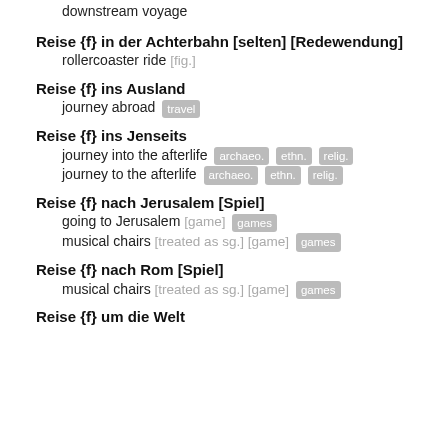downstream voyage
Reise {f} in der Achterbahn [selten] [Redewendung] — rollercoaster ride [fig.]
Reise {f} ins Ausland — journey abroad [travel]
Reise {f} ins Jenseits — journey into the afterlife [archaeo.] [ethn.] [relig.] / journey to the afterlife [archaeo.] [ethn.] [relig.]
Reise {f} nach Jerusalem [Spiel] — going to Jerusalem [game] [games] / musical chairs [treated as sg.] [game] [games]
Reise {f} nach Rom [Spiel] — musical chairs [treated as sg.] [game] [games]
Reise {f} um die Welt